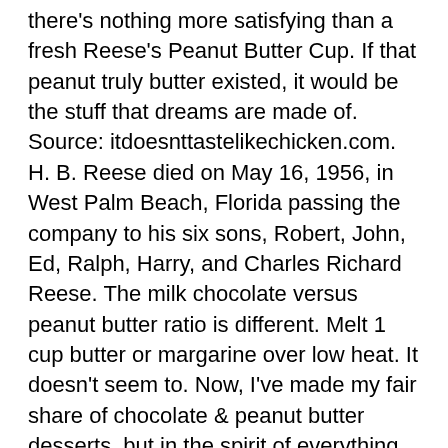there's nothing more satisfying than a fresh Reese's Peanut Butter Cup. If that peanut truly butter existed, it would be the stuff that dreams are made of. Source: itdoesnttastelikechicken.com. H. B. Reese died on May 16, 1956, in West Palm Beach, Florida passing the company to his six sons, Robert, John, Ed, Ralph, Harry, and Charles Richard Reese. The milk chocolate versus peanut butter ratio is different. Melt 1 cup butter or margarine over low heat. It doesn't seem to. Now, I've made my fair share of chocolate & peanut butter desserts, but in the spirit of everything peanut butter – today we're making Reese's Peanut Butter Cup Cookies. STEP ONE – In a small saucepan set over medium-low heat, whisk together cocoa powder and sugar. PB in the context of PB&J or Reeses is mainly overly sweetened saturated fat with ground peanut suspended in it. It tastes just like any other peanut butter and nothing like the filling of Reese's peanut butter cups. With just the switch of one ingredient, you can change up the flavours!